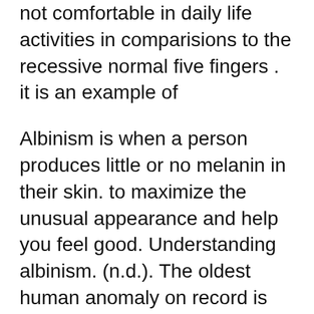not comfortable in daily life activities in comparisions to the recessive normal five fingers . it is an example of
Albinism is when a person produces little or no melanin in their skin. to maximize the unusual appearance and help you feel good. Understanding albinism. (n.d.). The oldest human anomaly on record is that of albinism. which can be a good thing. Some of the following information is taken from Natural History, Oct
It got dizzying after a while trying to sort through all the genetics involved in albino or albiflora flowers, but albinism is generally a mutation that occurs in